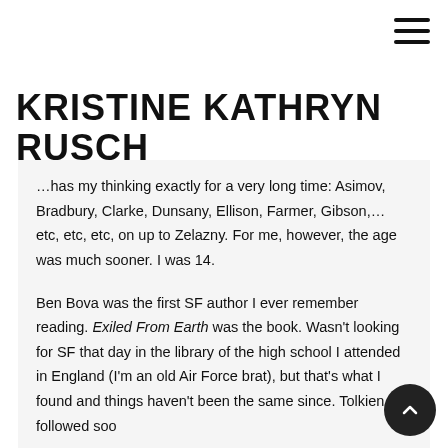Menu icon (hamburger)
KRISTINE KATHRYN RUSCH
…has my thinking exactly for a very long time: Asimov, Bradbury, Clarke, Dunsany, Ellison, Farmer, Gibson,… etc, etc, etc, on up to Zelazny. For me, however, the age was much sooner. I was 14.
Ben Bova was the first SF author I ever remember reading. Exiled From Earth was the book. Wasn't looking for SF that day in the library of the high school I attended in England (I'm an old Air Force brat), but that's what I found and things haven't been the same since. Tolkien followed soo…